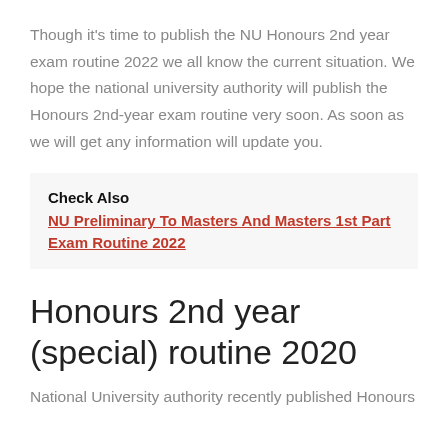Though it's time to publish the NU Honours 2nd year exam routine 2022 we all know the current situation. We hope the national university authority will publish the Honours 2nd-year exam routine very soon. As soon as we will get any information will update you.
Check Also  NU Preliminary To Masters And Masters 1st Part Exam Routine 2022
Honours 2nd year (special) routine 2020
National University authority recently published Honours